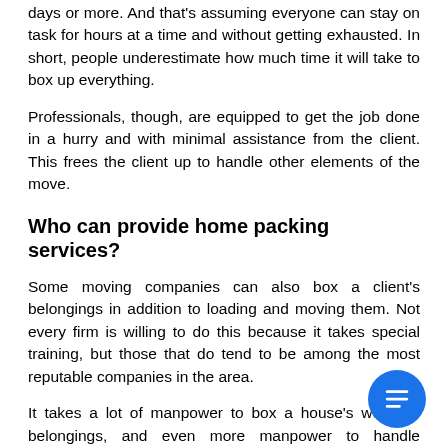days or more. And that's assuming everyone can stay on task for hours at a time and without getting exhausted. In short, people underestimate how much time it will take to box up everything.
Professionals, though, are equipped to get the job done in a hurry and with minimal assistance from the client. This frees the client up to handle other elements of the move.
Who can provide home packing services?
Some moving companies can also box a client's belongings in addition to loading and moving them. Not every firm is willing to do this because it takes special training, but those that do tend to be among the most reputable companies in the area.
It takes a lot of manpower to box a house's worth of belongings, and even more manpower to handle particularly bulky or heavy items. Only a handful of firms in any city have the muscle and logistics for this part of the process. So, a client will have to check out a number of review sites to see which companies meet these standards.